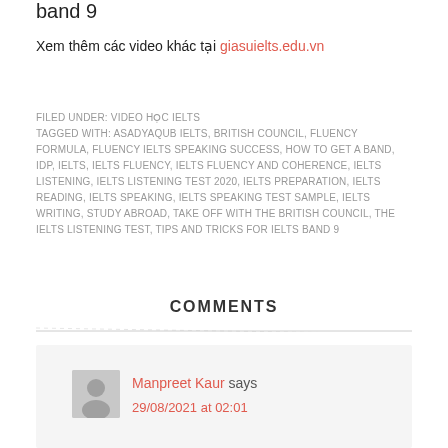band 9
Xem thêm các video khác tại giasuielts.edu.vn
FILED UNDER: VIDEO HỌC IELTS
TAGGED WITH: ASADYAQUB IELTS, BRITISH COUNCIL, FLUENCY FORMULA, FLUENCY IELTS SPEAKING SUCCESS, HOW TO GET A BAND, IDP, IELTS, IELTS FLUENCY, IELTS FLUENCY AND COHERENCE, IELTS LISTENING, IELTS LISTENING TEST 2020, IELTS PREPARATION, IELTS READING, IELTS SPEAKING, IELTS SPEAKING TEST SAMPLE, IELTS WRITING, STUDY ABROAD, TAKE OFF WITH THE BRITISH COUNCIL, THE IELTS LISTENING TEST, TIPS AND TRICKS FOR IELTS BAND 9
COMMENTS
Manpreet Kaur says
29/08/2021 at 02:01